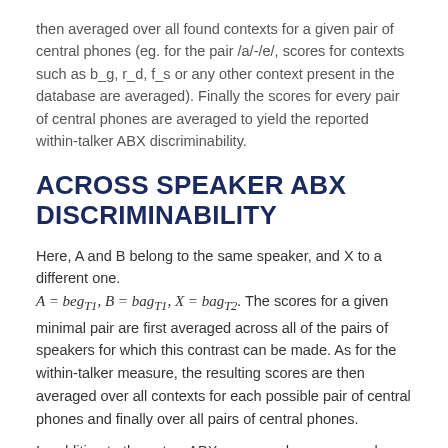then averaged over all found contexts for a given pair of central phones (eg. for the pair /a/-/e/, scores for contexts such as b_g, r_d, f_s or any other context present in the database are averaged). Finally the scores for every pair of central phones are averaged to yield the reported within-talker ABX discriminability.
ACROSS SPEAKER ABX DISCRIMINABILITY
Here, A and B belong to the same speaker, and X to a different one. A = beg_T1, B = bag_T1, X = bag_T2. The scores for a given minimal pair are first averaged across all of the pairs of speakers for which this contrast can be made. As for the within-talker measure, the resulting scores are then averaged over all contexts for each possible pair of central phones and finally over all pairs of central phones.
In addition to these two ABX compound scores, we also provide a csv file with the detailed results listed for each minimal pair and each talker. This enable participants to evaluate how their scores